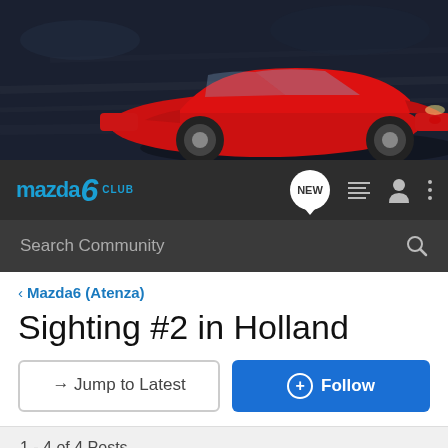[Figure (photo): Hero banner with a red Mazda 6 sedan driving on a dark background]
[Figure (logo): Mazda 6 Club logo in blue on dark navigation bar]
Search Community
< Mazda6 (Atenza)
Sighting #2 in Holland
→ Jump to Latest
+ Follow
1 - 4 of 4 Posts
mazdamarla · Registered
Joined Jan 28, 2003 · 543 Posts